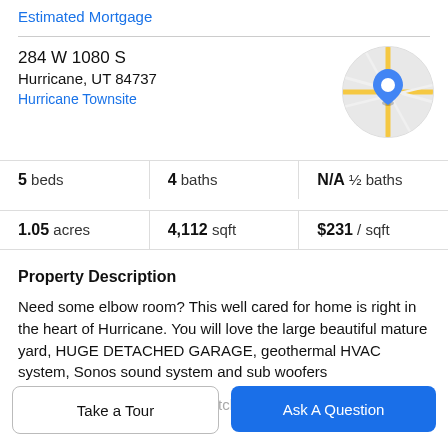Estimated Mortgage
284 W 1080 S
Hurricane, UT 84737
Hurricane Townsite
[Figure (map): Circular map thumbnail showing street map with a blue location pin marker in the center]
5 beds | 4 baths | N/A ½ baths
1.05 acres | 4,112 sqft | $231 / sqft
Property Description
Need some elbow room? This well cared for home is right in the heart of Hurricane. You will love the large beautiful mature yard, HUGE DETACHED GARAGE, geothermal HVAC system, Sonos sound system and sub woofers
Speakers in the living room, kitchen and master